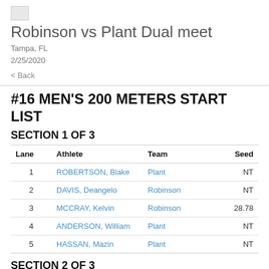[Figure (logo): Small broken image placeholder icon]
Robinson vs Plant Dual meet
Tampa, FL
2/25/2020
< Back
#16 MEN'S 200 METERS START LIST
SECTION 1 OF 3
| Lane | Athlete | Team | Seed |
| --- | --- | --- | --- |
| 1 | ROBERTSON, Blake | Plant | NT |
| 2 | DAVIS, Deangelo | Robinson | NT |
| 3 | MCCRAY, Kelvin | Robinson | 28.78 |
| 4 | ANDERSON, William | Plant | NT |
| 5 | HASSAN, Mazin | Plant | NT |
SECTION 2 OF 3